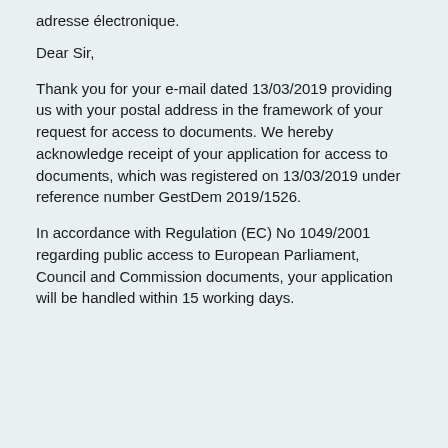adresse électronique.
Dear Sir,
Thank you for your e-mail dated 13/03/2019 providing us with your postal address in the framework of your request for access to documents. We hereby acknowledge receipt of your application for access to documents, which was registered on 13/03/2019 under reference number GestDem 2019/1526.
In accordance with Regulation (EC) No 1049/2001 regarding public access to European Parliament, Council and Commission documents, your application will be handled within 15 working days.